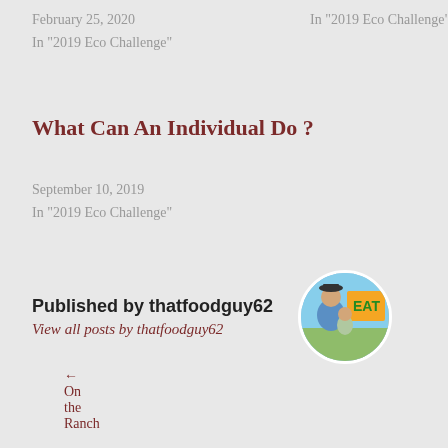February 25, 2020
In "2019 Eco Challenge"
In "2019 Eco Challenge"
What Can An Individual Do ?
September 10, 2019
In "2019 Eco Challenge"
Published by thatfoodguy62
View all posts by thatfoodguy62
← On the Ranch